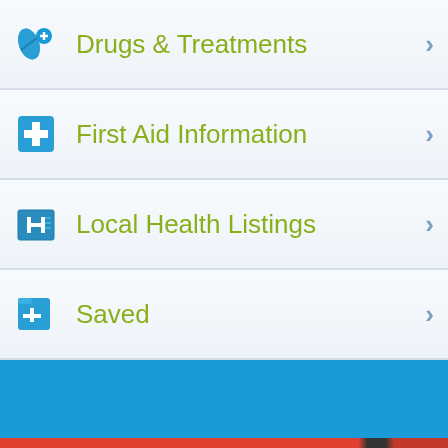Drugs & Treatments
First Aid Information
Local Health Listings
Saved
[Figure (screenshot): Blue banner section]
Privacy & Cookies: This site uses cookies. By continuing to use this website, you agree to their use.
To find out more, including how to control cookies, see here: Cookie Policy